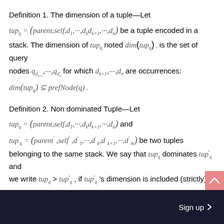Definition 1. The dimension of a tuple—Let
Definition 2. Non dominated Tuple—Let
Sign up